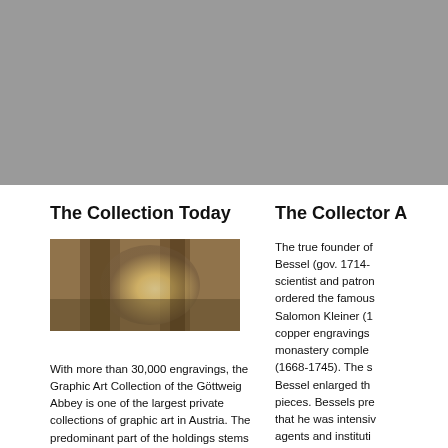[Figure (photo): Gray/tan header image at the top of the page, likely a banner photo of an interior or exterior space.]
The Collection Today
The Collector A
[Figure (photo): Blurred interior photograph showing stone or wooden architectural elements, warm amber and brown tones, possibly an interior of Göttweig Abbey.]
With more than 30,000 engravings, the Graphic Art Collection of the Göttweig Abbey is one of the largest private collections of graphic art in Austria. The predominant part of the holdings stems from the Renaissance and Baroque era and includes works
The true founder of Bessel (gov. 1714- scientist and patron ordered the famous Salomon Kleiner (1 copper engravings monastery comple (1668-1745). The s Bessel enlarged th pieces. Bessels pre that he was intensiv agents and instituti and exchange eng of engravings asse collection a fascina